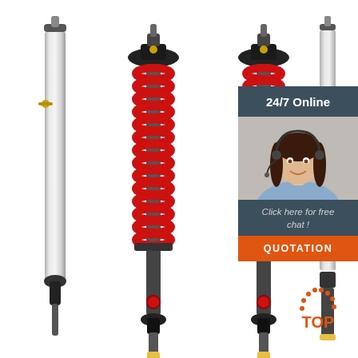[Figure (photo): Product photo showing four shock absorbers / coilover suspension units. From left to right: a bare chrome/silver shock absorber body, two red coilover spring assemblies (black damper body with red coil spring), and a partial fourth unit at far right. White background.]
[Figure (photo): Overlay panel in upper right showing a female customer service agent wearing a headset and smiling, with dark teal header reading '24/7 Online', dark teal footer reading 'Click here for free chat!', and an orange button labeled 'QUOTATION'.]
[Figure (logo): Orange 'TOP' badge with dotted arc above the text, positioned lower right corner.]